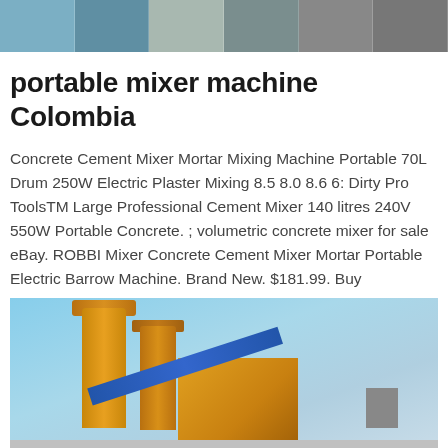[Figure (photo): Top banner photo showing concrete mixer machines and industrial equipment in a collage of multiple images]
portable mixer machine Colombia
Concrete Cement Mixer Mortar Mixing Machine Portable 70L Drum 250W Electric Plaster Mixing 8.5 8.0 8.6 6: Dirty Pro ToolsTM Large Professional Cement Mixer 140 litres 240V 550W Portable Concrete. ; volumetric concrete mixer for sale eBay. ROBBI Mixer Concrete Cement Mixer Mortar Portable Electric Barrow Machine. Brand New. $181.99. Buy
LEARN MORE
[Figure (photo): Photo of a yellow concrete batching plant with silos, conveyor belt, and blue sky background]